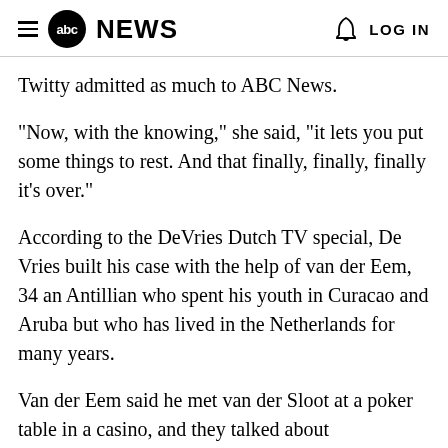abc NEWS  LOG IN
Twitty admitted as much to ABC News.
"Now, with the knowing," she said, "it lets you put some things to rest. And that finally, finally, finally it's over."
According to the DeVries Dutch TV special, De Vries built his case with the help of van der Eem, 34 an Antillian who spent his youth in Curacao and Aruba but who has lived in the Netherlands for many years.
Van der Eem said he met van der Sloot at a poker table in a casino, and they talked about